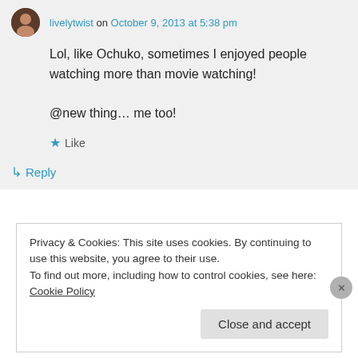livelytwist on October 9, 2013 at 5:38 pm
Lol, like Ochuko, sometimes I enjoyed people watching more than movie watching!

@new thing… me too!
Like
Reply
Privacy & Cookies: This site uses cookies. By continuing to use this website, you agree to their use.
To find out more, including how to control cookies, see here: Cookie Policy
Close and accept